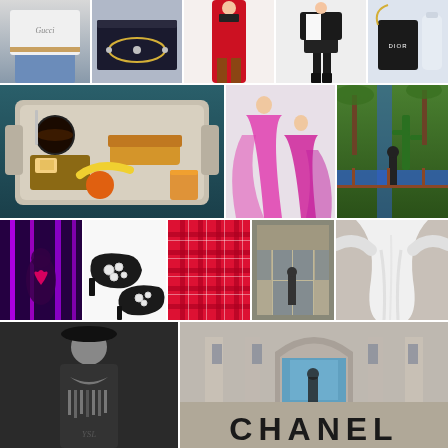[Figure (photo): Person wearing Gucci white t-shirt with jeans]
[Figure (photo): Jewelry necklace in a black gift box]
[Figure (photo): Fashion model in red coat on runway]
[Figure (photo): Fashion model in black leather jacket and skirt]
[Figure (photo): Dior branded bag with accessories]
[Figure (photo): Breakfast tray with coffee, croissant, bread, cheese, banana and orange juice]
[Figure (photo): Two models wearing pink flowy dresses]
[Figure (photo): Garden with cactus, blue pathways and tropical plants]
[Figure (photo): Purple neon light art installation]
[Figure (photo): Black velvet mules with pearl embellishments on white background]
[Figure (photo): Close-up of red plaid fabric / glove]
[Figure (photo): Person standing in front of a store entrance]
[Figure (photo): White off-shoulder draped dress detail]
[Figure (photo): Black and white photo of woman with hat and bow detail]
[Figure (photo): Chanel store facade with large CHANEL letters]